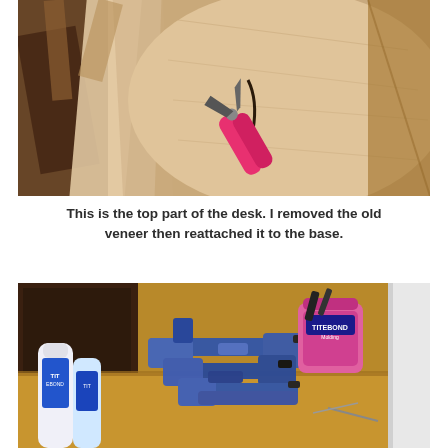[Figure (photo): Close-up photograph of wooden veneer strips being removed from a desk top using pink-handled pliers/wire cutters. Various pieces of dark stained and light natural wood veneer are visible on a circular wooden surface.]
This is the top part of the desk. I removed the old veneer then reattached it to the base.
[Figure (photo): Photograph of woodworking tools including multiple blue clamps piled together, a bottle of wood glue (Titebond), and a pink container of Titebond wood filler/putty on a wooden surface next to what appears to be a wooden furniture piece.]